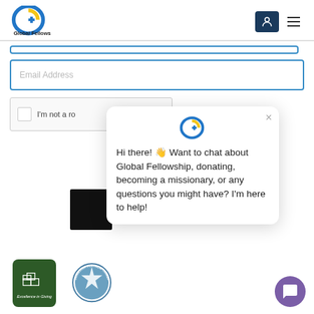[Figure (logo): Global Fellowship logo with circular G+ icon in blue and yellow, with text 'Global Fellowship' below]
[Figure (screenshot): Navigation header with user icon button and hamburger menu]
Email Address (input field placeholder)
I'm not a robot (CAPTCHA checkbox)
[Figure (other): Chat popup with Global Fellowship logo icon showing message: Hi there! 👋 Want to chat about Global Fellowship, donating, becoming a missionary, or any questions you might have? I'm here to help!]
[Figure (logo): Excellence in Giving badge - dark green with cube icons]
[Figure (logo): Guidestar Platinum Transparency seal]
[Figure (other): Purple chat bubble button in bottom right corner]